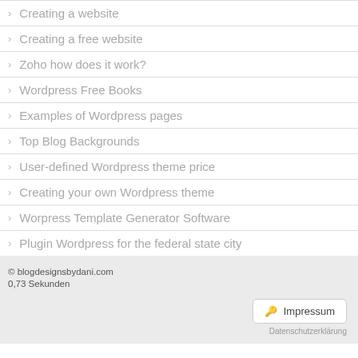Creating a website
Creating a free website
Zoho how does it work?
Wordpress Free Books
Examples of Wordpress pages
Top Blog Backgrounds
User-defined Wordpress theme price
Creating your own Wordpress theme
Worpress Template Generator Software
Plugin Wordpress for the federal state city
© blogdesignsbydani.com
0,73 Sekunden
Impressum
Datenschutzerklärung